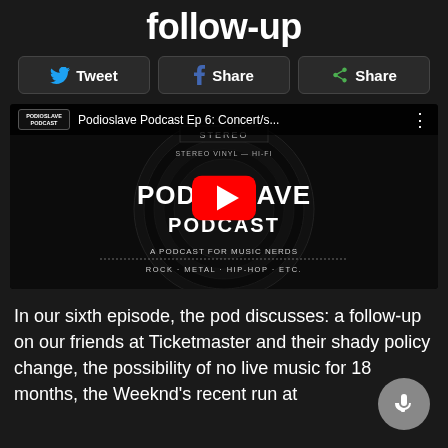follow-up
[Figure (screenshot): Three share buttons: Tweet (Twitter), Share (Facebook), Share (generic)]
[Figure (screenshot): YouTube video thumbnail for Podioslave Podcast Ep 6: Concert/s... showing the Podioslave Podcast album art - a vinyl record style cover with text PODIOSLAVE PODCAST, A PODCAST FOR MUSIC NERDS, ROCK · METAL · HIP-HOP · ETC., with a YouTube play button overlay]
In our sixth episode, the pod discusses: a follow-up on our friends at Ticketmaster and their shady policy change, the possibility of no live music for 18 months, the Weeknd's recent run at